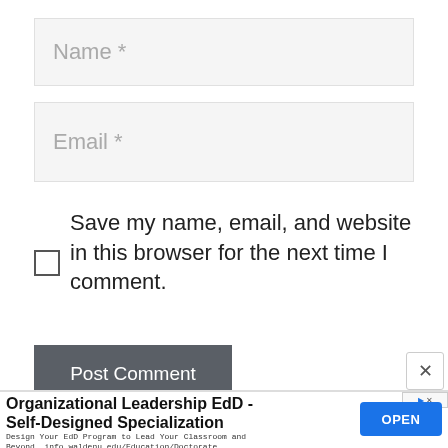Name *
Email *
Save my name, email, and website in this browser for the next time I comment.
Post Comment
[Figure (screenshot): Advertisement banner for Organizational Leadership EdD - Self-Designed Specialization from Walden University with an OPEN button]
Organizational Leadership EdD - Self-Designed Specialization
Design Your EdD Program to Lead Your Classroom and Beyond. info.waldenu.edu/Education/Doctorate